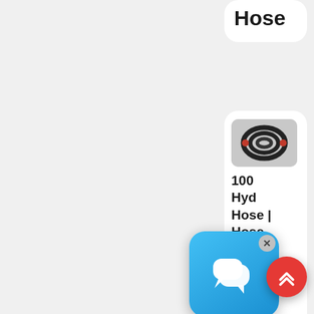Hose
[Figure (photo): Coiled black hydraulic hose with fittings]
100 Hydraulic Hose | Hose And Fittings Source
According to: SAE J517 No
[Figure (illustration): Chat widget icon with two overlapping speech bubbles, blue rounded square background, with X close button]
[Figure (illustration): Red circular scroll-to-top button with double chevron up arrow]